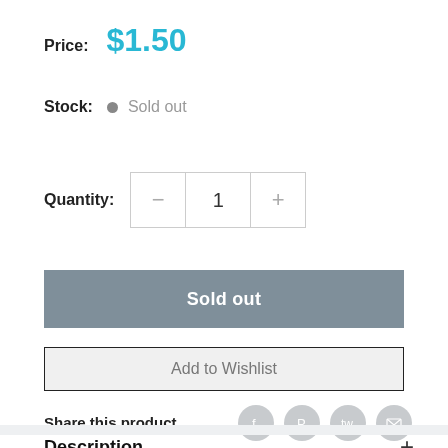Price: $1.50
Stock: • Sold out
Quantity: 1
Sold out
Add to Wishlist
Share this product
Description